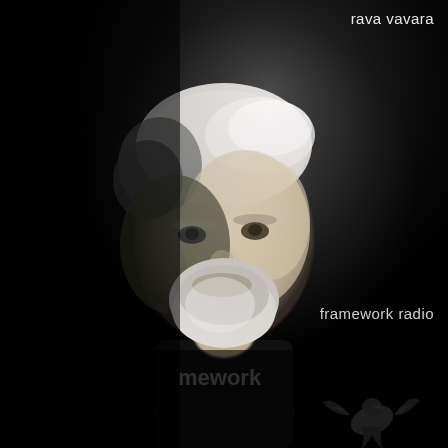[Figure (photo): Black and white portrait photograph of an elderly man with white hair and white beard, wearing a black shirt with partial text 'mework' visible, against a dark background. A dark bird silhouette is visible in the lower right corner.]
rava vavara
framework radio